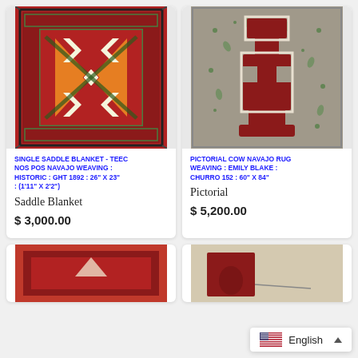[Figure (photo): Single Saddle Blanket - Teec Nos Pos Navajo Weaving, red geometric pattern with Greek key border]
SINGLE SADDLE BLANKET - TEEC NOS POS NAVAJO WEAVING : HISTORIC : GHT 1892 : 26" X 23" : (1'11" X 2'2")
Saddle Blanket
$ 3,000.00
[Figure (photo): Pictorial Cow Navajo Rug Weaving by Emily Blake, dark red central figure on grey floral background]
PICTORIAL COW NAVAJO RUG WEAVING : EMILY BLAKE : CHURRO 152 : 60" X 84"
Pictorial
$ 5,200.00
[Figure (photo): Partial view of a Navajo rug at the bottom left]
[Figure (photo): Partial view of a Navajo rug at the bottom right]
English